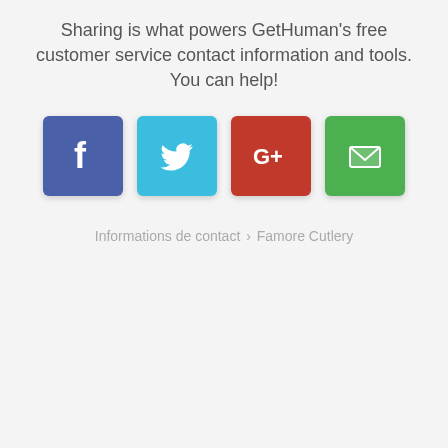Sharing is what powers GetHuman's free customer service contact information and tools. You can help!
[Figure (infographic): Four social sharing buttons: Facebook (blue), Twitter (cyan), Google+ (red), Email (green)]
Informations de contact › Famore Cutlery